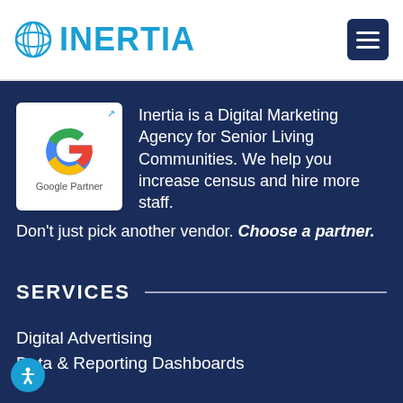[Figure (logo): Inertia company logo with circular globe icon and teal INERTIA text]
Inertia is a Digital Marketing Agency for Senior Living Communities. We help you increase census and hire more staff. Don’t just pick another vendor. Choose a partner.
[Figure (logo): Google Partner badge with Google G logo]
SERVICES
Digital Advertising
Data & Reporting Dashboards